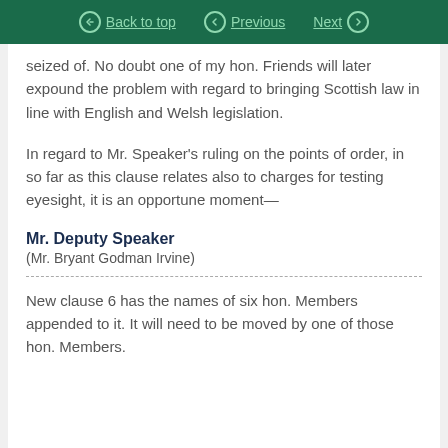Back to top | Previous | Next
seized of. No doubt one of my hon. Friends will later expound the problem with regard to bringing Scottish law in line with English and Welsh legislation.
In regard to Mr. Speaker's ruling on the points of order, in so far as this clause relates also to charges for testing eyesight, it is an opportune moment—
Mr. Deputy Speaker
(Mr. Bryant Godman Irvine)
New clause 6 has the names of six hon. Members appended to it. It will need to be moved by one of those hon. Members.